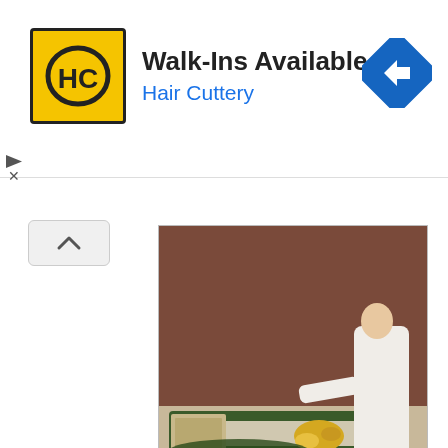[Figure (other): Hair Cuttery advertisement banner with HC logo, text 'Walk-Ins Available' and 'Hair Cuttery', and a blue navigation arrow icon]
[Figure (photo): A person in white robes placing flowers on a grave or tomb decorated with greenery, inside Mission Carmel church]
Mission Trivia:  Father Serra preferred the setting of the Mission Carmel and decided to make it his headquarters in Alta California, although he continued to travel throughout the region in establishing additional Missions he always returned to the Mission Carmel.  Today, visitors to the Mission will be able to see Father Serra's room which is furnished rather sparingly due to the padre's vow of poverty taken in his service to the Catholic Church.  Father Serra died in 1784 at the Mission Carmel and is buried within the church and the large sarcophagus display was created by the sculptor Jo Mora and it depicts Father Serra at the